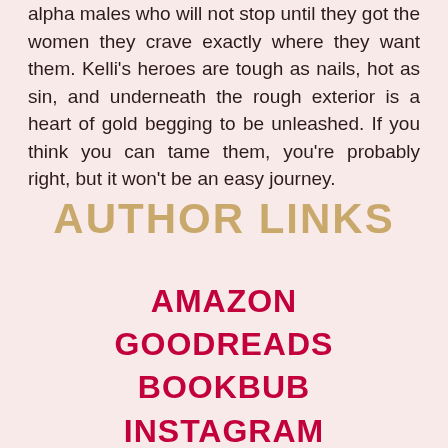alpha males who will not stop until they got the women they crave exactly where they want them. Kelli's heroes are tough as nails, hot as sin, and underneath the rough exterior is a heart of gold begging to be unleashed. If you think you can tame them, you're probably right, but it won't be an easy journey.
AUTHOR LINKS
AMAZON
GOODREADS
BOOKBUB
INSTAGRAM
TWITTER